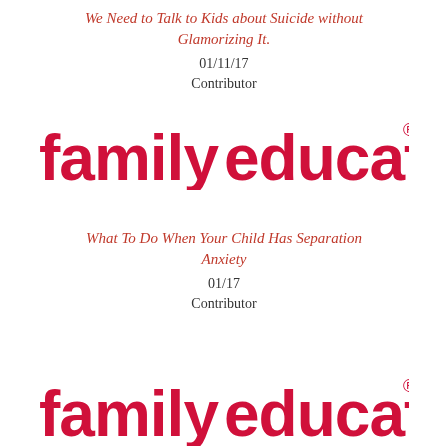We Need to Talk to Kids about Suicide without Glamorizing It.
01/11/17
Contributor
[Figure (logo): familyeducation logo in bold red lowercase text with registered trademark symbol]
What To Do When Your Child Has Separation Anxiety
01/17
Contributor
[Figure (logo): familyeducation logo in bold red lowercase text with registered trademark symbol]